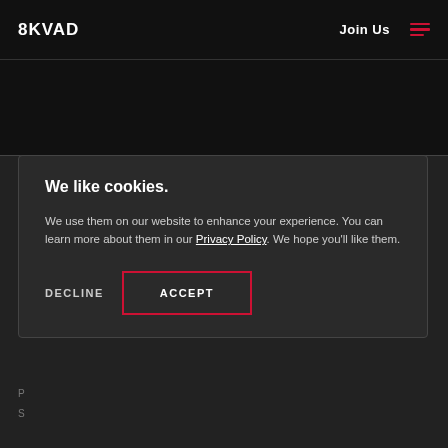8KVAD  Join Us  ☰
We like cookies.
We use them on our website to enhance your experience. You can learn more about them in our Privacy Policy. We hope you'll like them.
DECLINE
ACCEPT